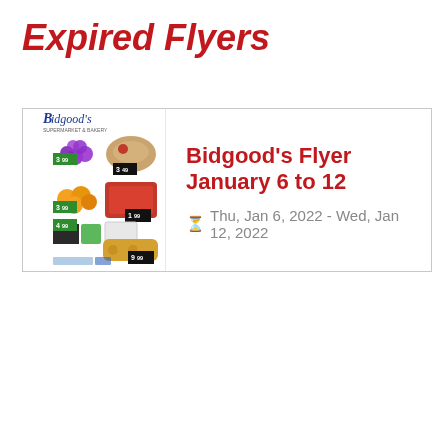Expired Flyers
[Figure (screenshot): Thumbnail of Bidgood's grocery flyer showing produce, meat, and baked goods with price tags]
Bidgood's Flyer January 6 to 12
Thu, Jan 6, 2022 - Wed, Jan 12, 2022